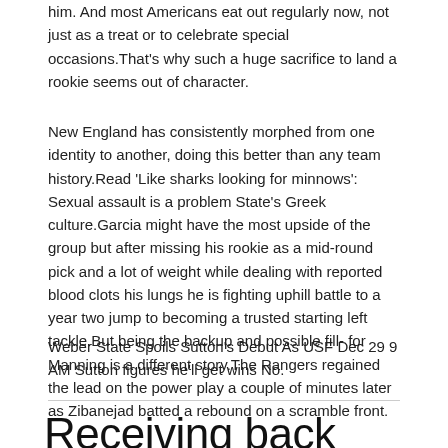him. And most Americans eat out regularly now, not just as a treat or to celebrate special occasions.That's why such a huge sacrifice to land a rookie seems out of character.
New England has consistently morphed from one identity to another, doing this better than any team history.Read 'Like sharks looking for minnows': Sexual assault is a problem State's Greek culture.Garcia might have the most upside of the group but after missing his rookie as a mid-round pick and a lot of weight while dealing with reported blood clots his lungs he is fighting uphill battle to a year two jump to becoming a trusted starting left tackle.But being the backup and possible fill- for Manning is a different story.The Rangers regained the lead on the power play a couple of minutes later as Zibanejad batted a rebound on a scramble front.
Weber State Spoils Sutton's Debut As USF Dec 29 9 AM Sutton figures he'll get wins No.
Receiving back prospect